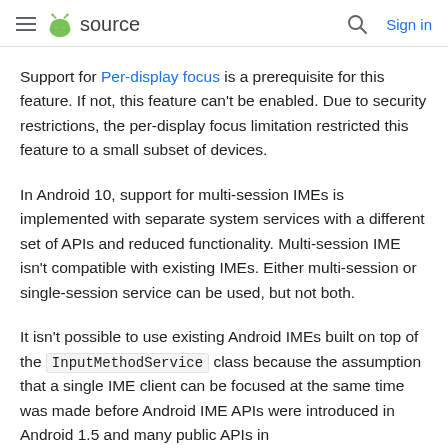source  Sign in
Support for Per-display focus is a prerequisite for this feature. If not, this feature can't be enabled. Due to security restrictions, the per-display focus limitation restricted this feature to a small subset of devices.
In Android 10, support for multi-session IMEs is implemented with separate system services with a different set of APIs and reduced functionality. Multi-session IME isn't compatible with existing IMEs. Either multi-session or single-session service can be used, but not both.
It isn't possible to use existing Android IMEs built on top of the InputMethodService class because the assumption that a single IME client can be focused at the same time was made before Android IME APIs were introduced in Android 1.5 and many public APIs in